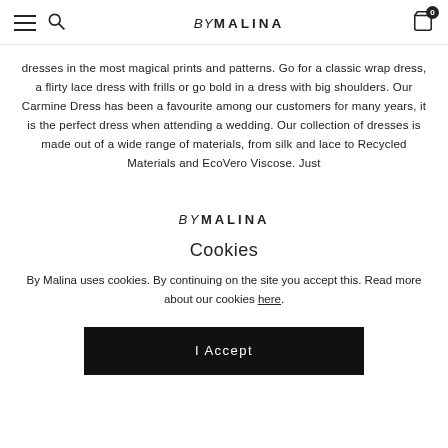BY MALINA [navigation header with hamburger, search, and cart icons]
dresses in the most magical prints and patterns. Go for a classic wrap dress, a flirty lace dress with frills or go bold in a dress with big shoulders. Our Carmine Dress has been a favourite among our customers for many years, it is the perfect dress when attending a wedding. Our collection of dresses is made out of a wide range of materials, from silk and lace to Recycled Materials and EcoVero Viscose. Just
[Figure (logo): BY MALINA logo in center of modal overlay]
Cookies
By Malina uses cookies. By continuing on the site you accept this. Read more about our cookies here.
I Accept